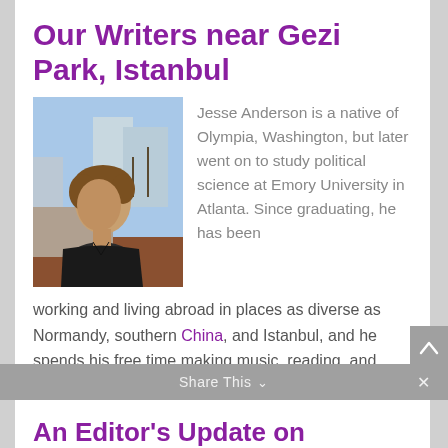Our Writers near Gezi Park, Istanbul
[Figure (photo): Photo of Jesse Anderson, a young man with wavy brown hair wearing a dark v-neck shirt, photographed outdoors with buildings and bare trees in the background.]
Jesse Anderson is a native of Olympia, Washington, but later went on to study political science at Emory University in Atlanta. Since graduating, he has been working and living abroad in places as diverse as Normandy, southern China, and Istanbul, and he spends his free time making music, reading, and studying languages.
Share This  ∨  ×
An Editor's Update on